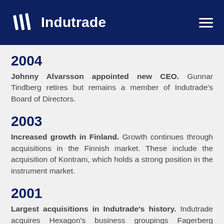Indutrade
2004
Johnny Alvarsson appointed new CEO. Gunnar Tindberg retires but remains a member of Indutrade's Board of Directors.
2003
Increased growth in Finland. Growth continues through acquisitions in the Finnish market. These include the acquisition of Kontram, which holds a strong position in the instrument market.
2001
Largest acquisitions in Indutrade's history. Indutrade acquires Hexagon's business groupings Fagerberg (including GEFA), EIE, Tecalemit and Pentronic, which mainly operate in the flow